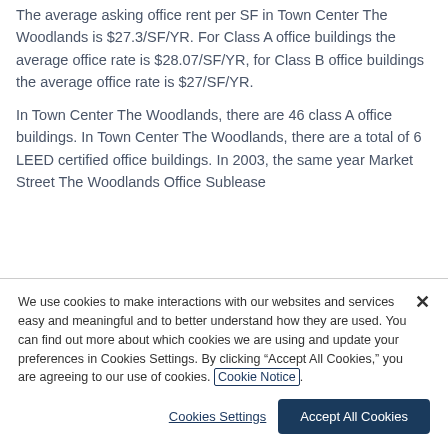The average asking office rent per SF in Town Center The Woodlands is $27.3/SF/YR. For Class A office buildings the average office rate is $28.07/SF/YR, for Class B office buildings the average office rate is $27/SF/YR.
In Town Center The Woodlands, there are 46 class A office buildings. In Town Center The Woodlands, there are a total of 6 LEED certified office buildings. In 2003, the same year Market Street The Woodlands Office Sublease
We use cookies to make interactions with our websites and services easy and meaningful and to better understand how they are used. You can find out more about which cookies we are using and update your preferences in Cookies Settings. By clicking “Accept All Cookies,” you are agreeing to our use of cookies. Cookie Notice.
Cookies Settings
Accept All Cookies